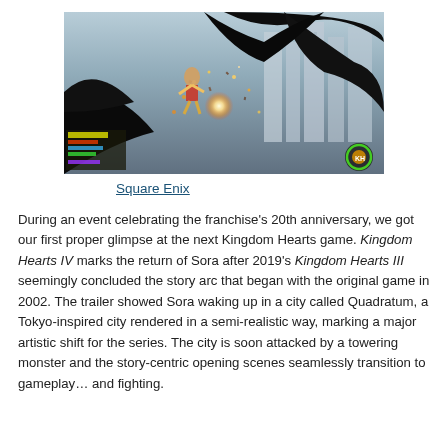[Figure (screenshot): Screenshot from Kingdom Hearts IV showing Sora in mid-air fighting a large dark monster in a Tokyo-like city environment. Game HUD visible in lower left corner, logo in lower right.]
Square Enix
During an event celebrating the franchise's 20th anniversary, we got our first proper glimpse at the next Kingdom Hearts game. Kingdom Hearts IV marks the return of Sora after 2019's Kingdom Hearts III seemingly concluded the story arc that began with the original game in 2002. The trailer showed Sora waking up in a city called Quadratum, a Tokyo-inspired city rendered in a semi-realistic way, marking a major artistic shift for the series. The city is soon attacked by a towering monster and the story-centric opening scenes seamlessly transition to gameplay… and fighting.